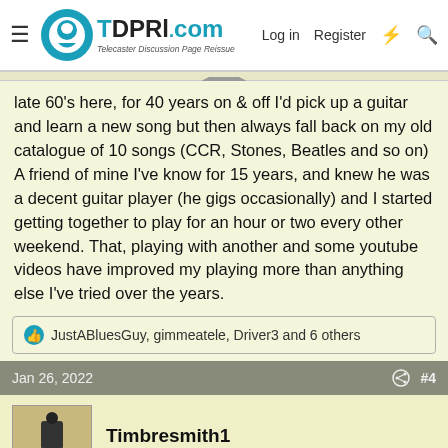TDPRI.com — Telecaster Discussion Page Reissue — Log in  Register
late 60's here, for 40 years on & off I'd pick up a guitar and learn a new song but then always fall back on my old catalogue of 10 songs (CCR, Stones, Beatles and so on) A friend of mine I've know for 15 years, and knew he was a decent guitar player (he gigs occasionally) and I started getting together to play for an hour or two every other weekend. That, playing with another and some youtube videos have improved my playing more than anything else I've tried over the years.
👍 JustABluesGuy, gimmeatele, Driver3 and 6 others
Jan 26, 2022  #4
Timbresmith1
Friend of Leo's
Fear of embarrassment can work.